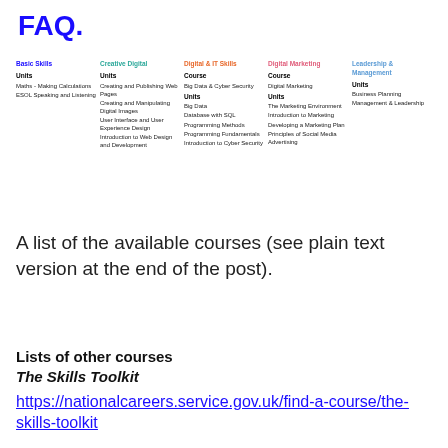FAQ.
[Figure (infographic): Course listing table with 5 columns: Basic Skills, Creative Digital, Digital & IT Skills, Digital Marketing, Leadership & Management. Each column lists course units.]
A list of the available courses (see plain text version at the end of the post).
Lists of other courses
The Skills Toolkit
https://nationalcareers.service.gov.uk/find-a-course/the-skills-toolkit